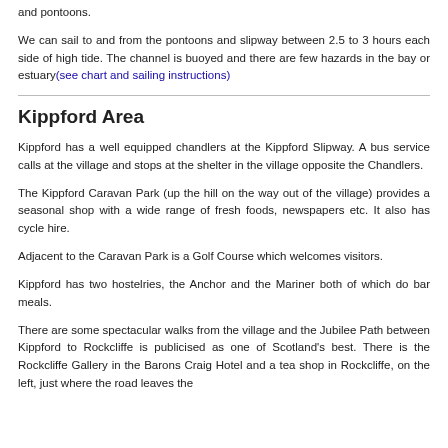and pontoons.
We can sail to and from the pontoons and slipway between 2.5 to 3 hours each side of high tide. The channel is buoyed and there are few hazards in the bay or estuary(see chart and sailing instructions)
Kippford Area
Kippford has a well equipped chandlers at the Kippford Slipway. A bus service calls at the village and stops at the shelter in the village opposite the Chandlers.
The Kippford Caravan Park (up the hill on the way out of the village) provides a seasonal shop with a wide range of fresh foods, newspapers etc. It also has cycle hire.
Adjacent to the Caravan Park is a Golf Course which welcomes visitors.
Kippford has two hostelries, the Anchor and the Mariner both of which do bar meals.
There are some spectacular walks from the village and the Jubilee Path between Kippford to Rockcliffe is publicised as one of Scotland's best. There is the Rockcliffe Gallery in the Barons Craig Hotel and a tea shop in Rockcliffe, on the left, just where the road leaves the